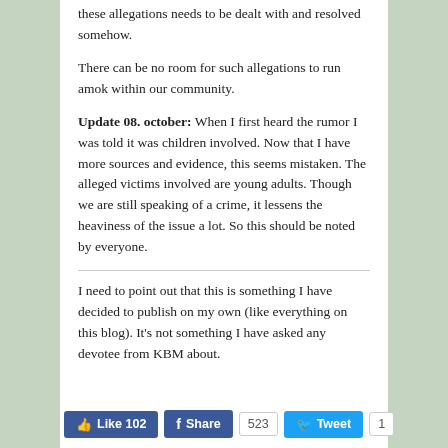these allegations needs to be dealt with and resolved somehow.
There can be no room for such allegations to run amok within our community.
Update 08. october: When I first heard the rumor I was told it was children involved. Now that I have more sources and evidence, this seems mistaken. The alleged victims involved are young adults. Though we are still speaking of a crime, it lessens the heaviness of the issue a lot. So this should be noted by everyone.
I need to point out that this is something I have decided to publish on my own (like everything on this blog). It's not something I have asked any devotee from KBM about.
[Figure (screenshot): Social media sharing buttons: Like 102 (Facebook), Share with count 523, Tweet with count 1]